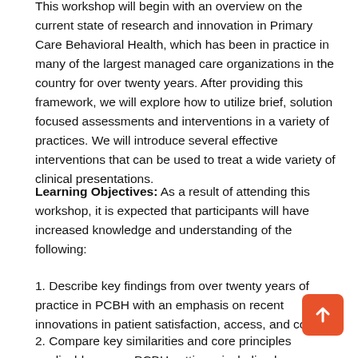This workshop will begin with an overview on the current state of research and innovation in Primary Care Behavioral Health, which has been in practice in many of the largest managed care organizations in the country for over twenty years. After providing this framework, we will explore how to utilize brief, solution focused assessments and interventions in a variety of practices. We will introduce several effective interventions that can be used to treat a wide variety of clinical presentations.
Learning Objectives: As a result of attending this workshop, it is expected that participants will have increased knowledge and understanding of the following:
1. Describe key findings from over twenty years of practice in PCBH with an emphasis on recent innovations in patient satisfaction, access, and cost.
2. Compare key similarities and core principles applicable across PCBH settings, including large managed care